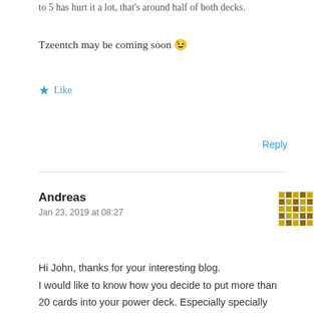to 5 has hurt it a lot, that's around half of both decks.
Tzeentch may be coming soon 😉
Like
Reply
Andreas
Jan 23, 2019 at 08:27
[Figure (other): Pixel avatar/identicon for user Andreas]
Hi John, thanks for your interesting blog. I would like to know how you decide to put more than 20 cards into your power deck. Especially specially here you don't have any cards which would let you draw any, what could be an obvious motivation to put some more into your deck.